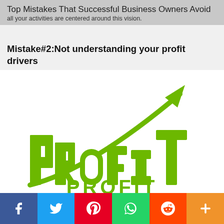Top Mistakes That Successful Business Owners Avoid
all your activities are centered around this vision.
Mistake#2:Not understanding your profit drivers
[Figure (illustration): 3D green block letters spelling PROFIT with an upward-pointing green arrow rising steeply from left to right above the letters, symbolizing profit growth, on a white background.]
Social share bar: Facebook, Twitter, Pinterest, WhatsApp, Reddit, More